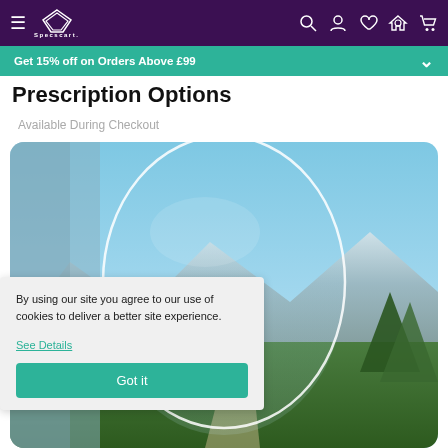Specscart navigation bar with hamburger menu, logo, search, account, wishlist, home, and cart icons
Get 15% off on Orders Above £99
Prescription Options
Available During Checkout
[Figure (photo): Close-up photo of a clear optical lens held up against a blue sky with mountains and green trees in the background. The lens outline is visible as a white border.]
By using our site you agree to our use of cookies to deliver a better site experience.
See Details
Got it